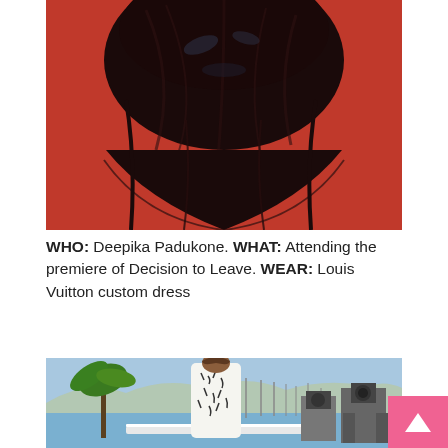[Figure (photo): Cropped photo showing top of a person's dark hair against a red background, Cannes film festival style photo call]
WHO: Deepika Padukone. WHAT: Attending the premiere of Decision to Leave. WEAR: Louis Vuitton custom dress
[Figure (photo): Woman in white and black patterned sleeveless dress leaning against a white railing at an outdoor event, with palm trees, harbor with sailboats, and photographers in background. Cannes film festival photocall.]